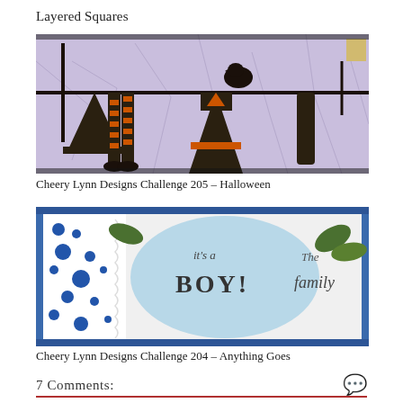Layered Squares
[Figure (photo): Halloween themed craft card showing witch clothing items (hat, striped stockings, witch robe with orange accents, crow) hanging on a black rod against a purple crackled background.]
Cheery Lynn Designs Challenge 205 – Halloween
[Figure (photo): Baby boy themed craft card with blue background, white dotted lace trim on left, a light blue oval circle in center with text 'it's a BOY!' and partial text 'The family' on the right side with green leaves.]
Cheery Lynn Designs Challenge 204 – Anything Goes
7 Comments: